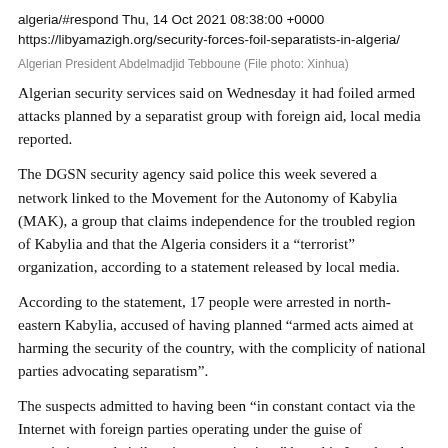algeria/#respond Thu, 14 Oct 2021 08:38:00 +0000
https://libyamazigh.org/security-forces-foil-separatists-in-algeria/
Algerian President Abdelmadjid Tebboune (File photo: Xinhua)
Algerian security services said on Wednesday it had foiled armed attacks planned by a separatist group with foreign aid, local media reported.
The DGSN security agency said police this week severed a network linked to the Movement for the Autonomy of Kabylia (MAK), a group that claims independence for the troubled region of Kabylia and that the Algeria considers it a “terrorist” organization, according to a statement released by local media.
According to the statement, 17 people were arrested in north-eastern Kabylia, accused of having planned “armed acts aimed at harming the security of the country, with the complicity of national parties advocating separatism”.
The suspects admitted to having been “in constant contact via the Internet with foreign parties operating under the guise of associations and civil society organizations” based in Israel and a country in North Africa, according to the statement. He did not identify which North African country was allegedly involved, but Algeria accused its regional rival, Morocco, of supporting the